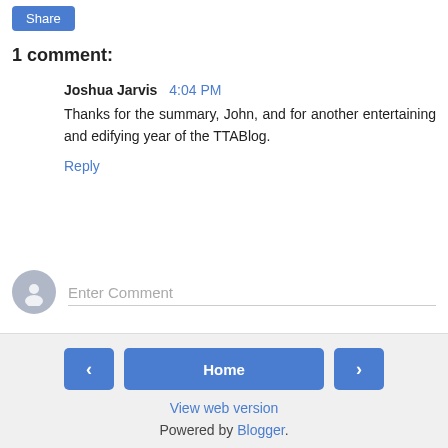[Figure (other): Share button — blue rounded rectangle with white text 'Share']
1 comment:
Joshua Jarvis  4:04 PM
Thanks for the summary, John, and for another entertaining and edifying year of the TTABlog.
Reply
[Figure (other): Enter Comment input field with gray avatar placeholder icon on the left]
‹  Home  ›
View web version
Powered by Blogger.